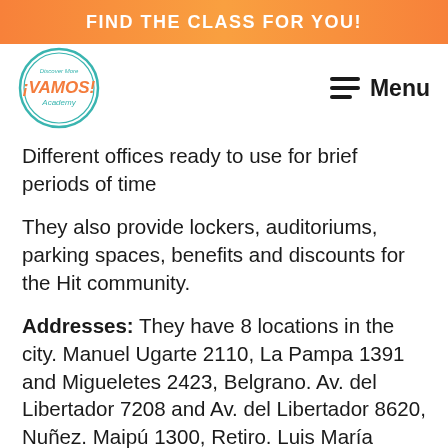FIND THE CLASS FOR YOU!
[Figure (logo): Vamos Academy circular logo with teal border]
Menu
Different offices ready to use for brief periods of time
They also provide lockers, auditoriums, parking spaces, benefits and discounts for the Hit community.
Addresses: They have 8 locations in the city. Manuel Ugarte 2110, La Pampa 1391 and Migueletes 2423, Belgrano. Av. del Libertador 7208 and Av. del Libertador 8620, Nuñez. Maipú 1300, Retiro. Luis María